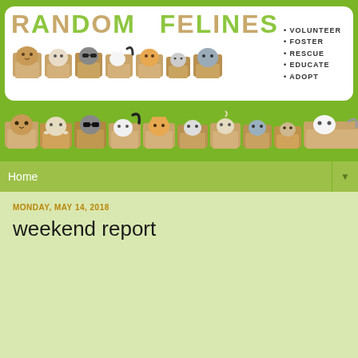[Figure (illustration): Random Felines blog header with logo showing cats peeking out of cardboard boxes, white rounded rectangle containing the logo text 'RANDOM FELINES' in green and brown letters, cats in boxes illustration strip, and bullet list: VOLUNTEER, FOSTER, RESCUE, EDUCATE, ADOPT. Below the white box is another row of cats in boxes on a green background.]
Home
MONDAY, MAY 14, 2018
weekend report